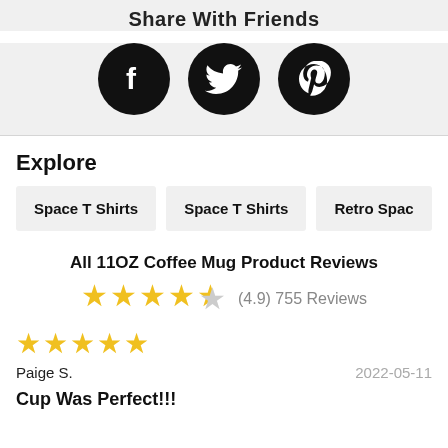Share With Friends
[Figure (infographic): Three social media icon circles (Facebook, Twitter, Pinterest) in black on a light grey background]
Explore
Space T Shirts
Space T Shirts
Retro Spac
All 11OZ Coffee Mug Product Reviews
(4.9) 755 Reviews
[Figure (infographic): 5 gold stars rating display (4.5 out of 5) with text (4.9) 755 Reviews]
[Figure (infographic): 5 gold filled stars (5 out of 5 rating)]
Paige S.
2022-05-11
Cup Was Perfect!!!